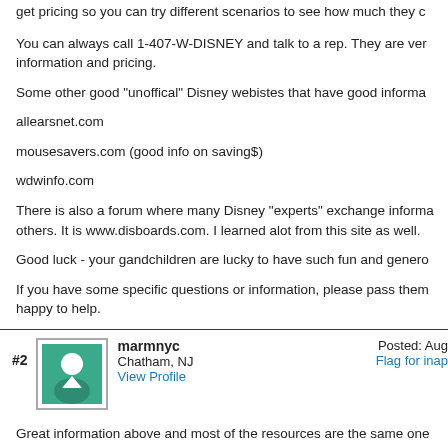get pricing so you can try different scenarios to see how much they c
You can always call 1-407-W-DISNEY and talk to a rep. They are very helpful with information and pricing.
Some other good "unoffical" Disney webistes that have good informa
allearsnet.com
mousesavers.com (good info on saving$)
wdwinfo.com
There is also a forum where many Disney "experts" exchange informa others. It is www.disboards.com. I learned alot from this site as well.
Good luck - your gandchildren are lucky to have such fun and genero
If you have some specific questions or information, please pass them happy to help.
#2  marmnyc
Chatham, NJ
View Profile
Posted: Aug
Flag for inap
Great information above and most of the resources are the same one Just one thing I've found: most of the Disney moderates and values h beds, not queens - except the Coronado Springs Resort. We picked t earlier this year for just that reason and had a delightful time. Finding hold 5 is tricky unless one of them is under 3; check Disboards.com f "experts" there. One great benefit of staying at Disney is the free airp